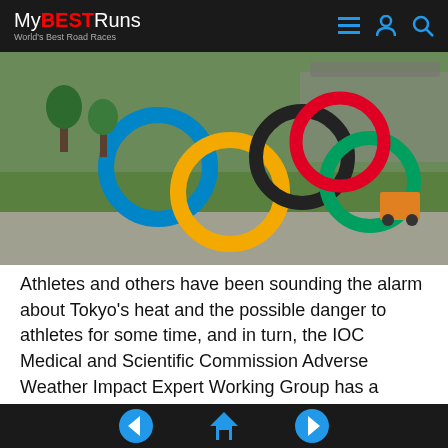MyBESTRuns - World's Best Road Races
[Figure (photo): Olympic rings sculpture displayed outdoors near a stadium with green lawn background, Tokyo Olympics]
Athletes and others have been sounding the alarm about Tokyo's heat and the possible danger to athletes for some time, and in turn, the IOC Medical and Scientific Commission Adverse Weather Impact Expert Working Group has a number of measures in place to mitigate the effects of extreme heat, which include scheduling track events of 5,000m and longer in the evening rather than morning or daytime...
Navigation: back, home, forward